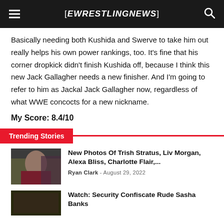EWRESTLINGNEWS
Basically needing both Kushida and Swerve to take him out really helps his own power rankings, too. It's fine that his corner dropkick didn't finish Kushida off, because I think this new Jack Gallagher needs a new finisher. And I'm going to refer to him as Jackal Jack Gallagher now, regardless of what WWE concocts for a new nickname.
My Score: 8.4/10
Trending Stories
New Photos Of Trish Stratus, Liv Morgan, Alexa Bliss, Charlotte Flair,...
Ryan Clark - August 29, 2022
Watch: Security Confiscate Rude Sasha Banks